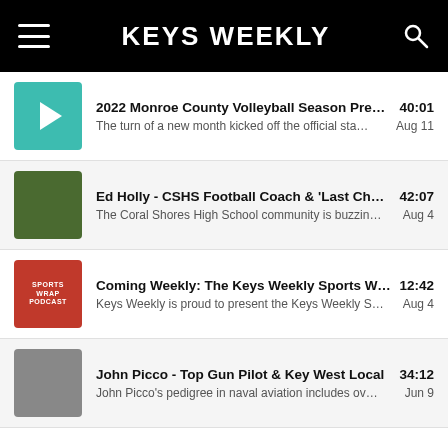KEYS WEEKLY
2022 Monroe County Volleyball Season Preview … 40:01 | The turn of a new month kicked off the official sta… Aug 11
Ed Holly - CSHS Football Coach & 'Last Chance U' … 42:07 | The Coral Shores High School community is buzzin… Aug 4
Coming Weekly: The Keys Weekly Sports Wrap 12:42 | Keys Weekly is proud to present the Keys Weekly S… Aug 4
John Picco - Top Gun Pilot & Key West Local 34:12 | John Picco's pedigree in naval aviation includes ov… Jun 9